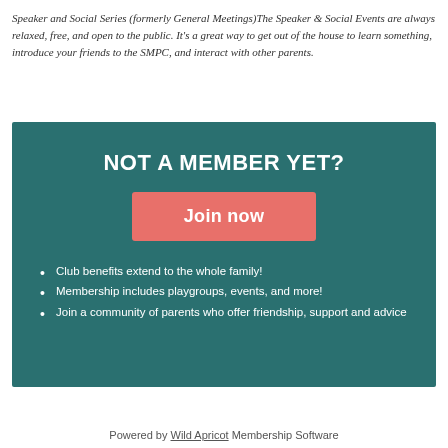Speaker and Social Series (formerly General Meetings)The Speaker & Social Events are always relaxed, free, and open to the public. It's a great way to get out of the house to learn something, introduce your friends to the SMPC, and interact with other parents.
[Figure (infographic): Teal banner with 'NOT A MEMBER YET?' heading, a coral/salmon 'Join now' button, and three bullet points listing membership benefits.]
Powered by Wild Apricot Membership Software